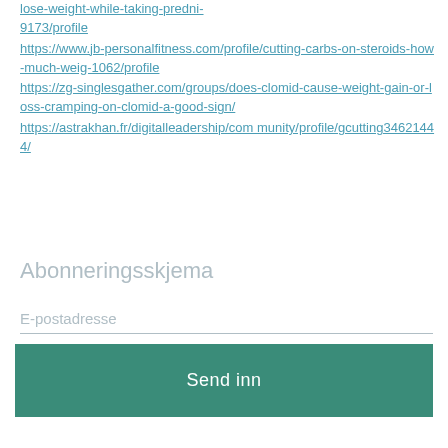lose-weight-while-taking-predni-9173/profile https://www.jb-personalfitness.com/profile/cutting-carbs-on-steroids-how-much-weig-1062/profile https://zg-singlesgather.com/groups/does-clomid-cause-weight-gain-or-loss-cramping-on-clomid-a-good-sign/ https://astrakhan.fr/digitalleadership/community/profile/gcutting34621444/
Abonneringsskjema
E-postadresse
Send inn